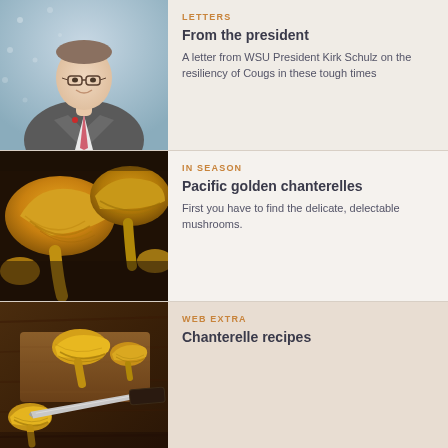[Figure (photo): Portrait photo of WSU President Kirk Schulz, a man in a grey suit with a pink tie and glasses, smiling]
LETTERS
From the president
A letter from WSU President Kirk Schulz on the resiliency of Cougs in these tough times
[Figure (photo): Close-up photo of golden chanterelle mushrooms on a dark wooden surface]
IN SEASON
Pacific golden chanterelles
First you have to find the delicate, delectable mushrooms.
[Figure (photo): Photo of chanterelle mushrooms on a wooden cutting board with a knife]
WEB EXTRA
Chanterelle recipes